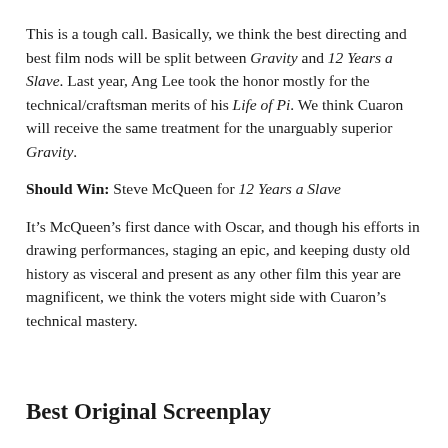This is a tough call. Basically, we think the best directing and best film nods will be split between Gravity and 12 Years a Slave. Last year, Ang Lee took the honor mostly for the technical/craftsman merits of his Life of Pi. We think Cuaron will receive the same treatment for the unarguably superior Gravity.
Should Win: Steve McQueen for 12 Years a Slave
It’s McQueen’s first dance with Oscar, and though his efforts in drawing performances, staging an epic, and keeping dusty old history as visceral and present as any other film this year are magnificent, we think the voters might side with Cuaron’s technical mastery.
Best Original Screenplay